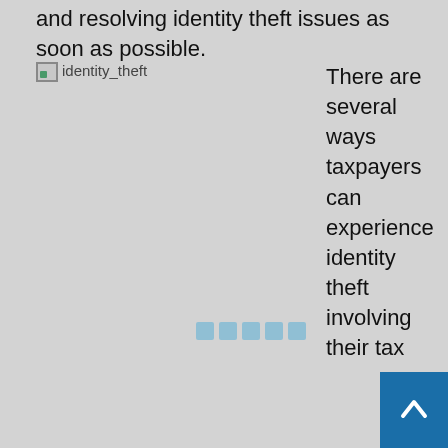and resolving identity theft issues as soon as possible.
[Figure (photo): Broken image placeholder labeled 'identity_theft' on the left side of the page]
There are several ways taxpayers can experience identity theft involving their tax returns. One of the most frequent encounters occur when identity thieves trying to file fraudulent refund claims using another person's identifying information, such as their name and social security number. By filing early in the tax-filing season, thieves have a lower chance of being detected and a higher chance of receiving fraudulent refunds. More often than not, taxpayers are unaware identity theft has even occurred